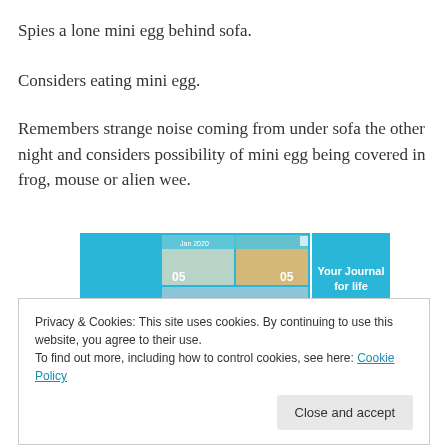Spies a lone mini egg behind sofa.
Considers eating mini egg.
Remembers strange noise coming from under sofa the other night and considers possibility of mini egg being covered in frog, mouse or alien wee.
[Figure (screenshot): App advertisement showing a journal app with photo collage interface and blue background with text 'Your Journal for life']
Privacy & Cookies: This site uses cookies. By continuing to use this website, you agree to their use.
To find out more, including how to control cookies, see here: Cookie Policy